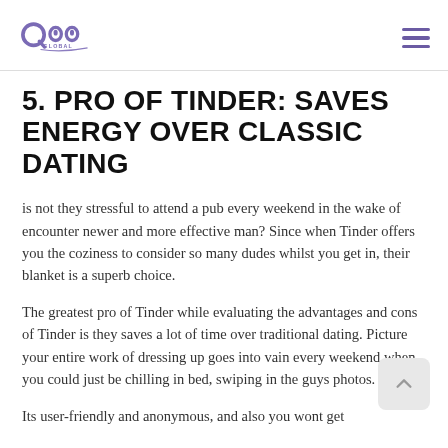QOO Global logo and navigation menu
5. PRO OF TINDER: SAVES ENERGY OVER CLASSIC DATING
is not they stressful to attend a pub every weekend in the wake of encounter newer and more effective man? Since when Tinder offers you the coziness to consider so many dudes whilst you get in, their blanket is a superb choice.
The greatest pro of Tinder while evaluating the advantages and cons of Tinder is they saves a lot of time over traditional dating. Picture your entire work of dressing up goes into vain every weekend when you could just be chilling in bed, swiping in the guys photos.
Its user-friendly and anonymous, and also you wont get